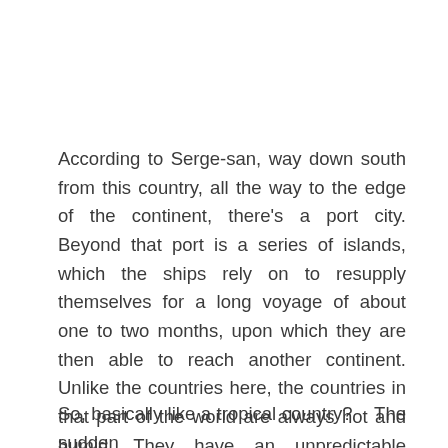According to Serge-san, way down south from this country, all the way to the edge of the continent, there's a port city. Beyond that port is a series of islands, which the ships rely on to resupply themselves for a long voyage of about one to two months, upon which they are then able to reach another continent. Unlike the countries here, the countries in that part of the world are always hot and humid. They have an unpredictable weather that would at one point be perfectly fine, and then in the next moment, break into a downpour. Their culture is also very different.
So, basically like a tropical country?    The sudden